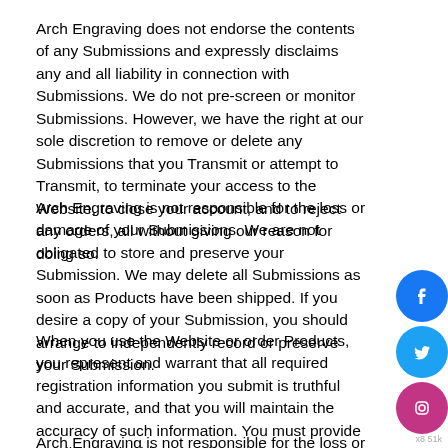Arch Engraving does not endorse the contents of any Submissions and expressly disclaims any and all liability in connection with Submissions. We do not pre-screen or monitor Submissions. However, we have the right at our sole discretion to remove or delete any Submissions that you Transmit or attempt to Transmit, to terminate your access to the Website, to close your account, and to reject any orders, all without giving our reason for doing so.
Arch Engraving is not responsible for the loss or damage of your Submissions. We are not obligated to store and preserve your Submission. We may delete all Submissions as soon as Products have been shipped. If you desire a copy of your Submission, you should arrange to independently record or preserve your Submission.
When you use the Website or order Products, you represent and warrant that all required registration information you submit is truthful and accurate, and that you will maintain the accuracy of such information. You must provide a valid email address and any other information requested by Arch Engraving to complete your